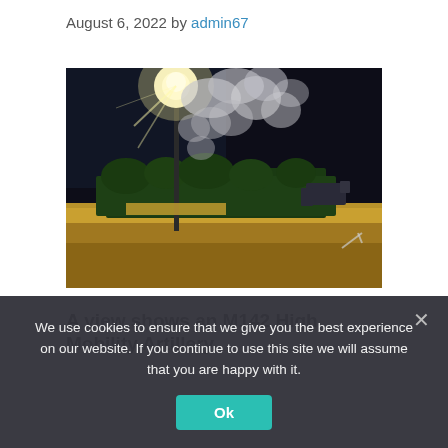August 6, 2022 by admin67
[Figure (photo): Nighttime photograph showing an M142 High Mobility Artillery Rocket System (HIMARS) launching a rocket over a wheat field, with a bright flare and smoke trail visible against a dark sky, with trees in the background.]
A view shows an M142 High Mobility Artillery
We use cookies to ensure that we give you the best experience on our website. If you continue to use this site we will assume that you are happy with it.